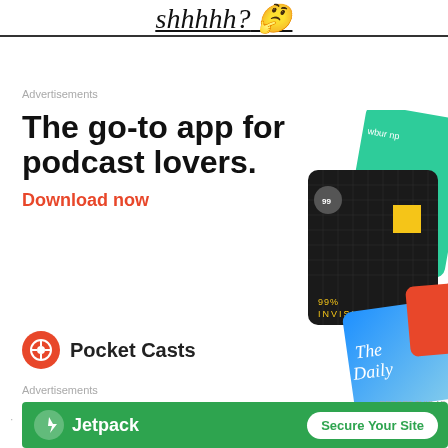shhhhh? 🤔
Advertisements
[Figure (illustration): Pocket Casts advertisement: 'The go-to app for podcast lovers.' with 'Download now' in red, podcast app cards showing 99% Invisible and The Daily, and the Pocket Casts logo.]
Advertisements
[Figure (illustration): Jetpack advertisement with green background, Jetpack logo, and 'Secure Your Site' button.]